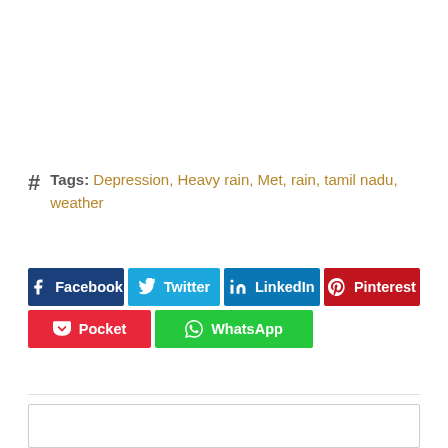Tags: Depression, Heavy rain, Met, rain, tamil nadu, weather
[Figure (other): Social share buttons: Facebook, Twitter, LinkedIn, Pinterest, Pocket, WhatsApp]